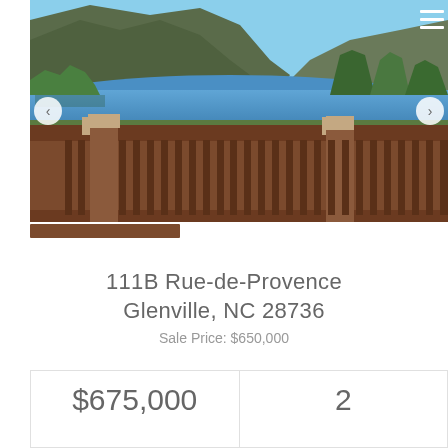[Figure (photo): Lakefront view from a wooden deck with brown railings. Blue lake in the middle distance surrounded by trees and mountains under a clear sky.]
111B Rue-de-Provence
Glenville, NC 28736
Sale Price: $650,000
| $675,000 | 2 |